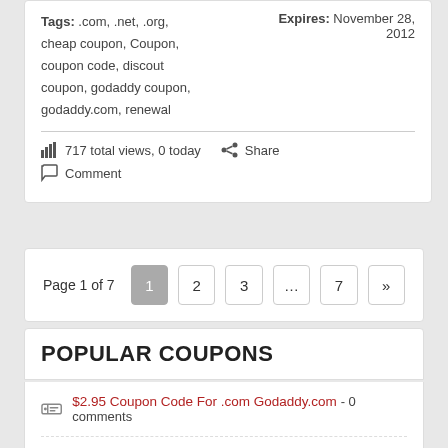Tags: .com, .net, .org, cheap coupon, Coupon, coupon code, discout coupon, godaddy coupon, godaddy.com, renewal    Expires: November 28, 2012
717 total views, 0 today    Share    Comment
Page 1 of 7   1  2  3  ...  7  >>
POPULAR COUPONS
$2.95 Coupon Code For .com Godaddy.com - 0 comments
Free Coupon for Servage.net - 0 comments